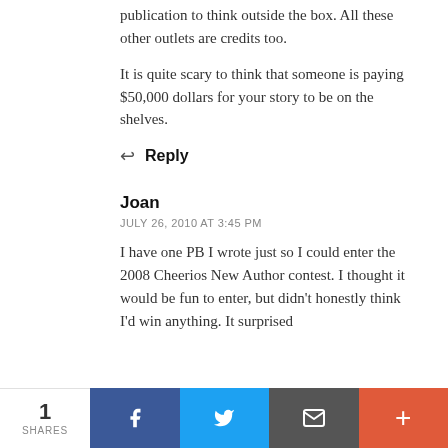publication to think outside the box. All these other outlets are credits too.
It is quite scary to think that someone is paying $50,000 dollars for your story to be on the shelves.
↩ Reply
Joan
JULY 26, 2010 AT 3:45 PM
I have one PB I wrote just so I could enter the 2008 Cheerios New Author contest. I thought it would be fun to enter, but didn't honestly think I'd win anything. It surprised
1 SHARES  [Facebook] [Twitter] [Email] [+]